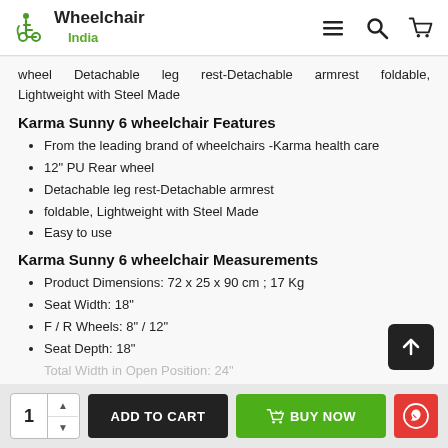Wheelchair India — navigation header
wheel Detachable leg rest-Detachable armrest foldable, Lightweight with Steel Made
Karma Sunny 6 wheelchair Features
From the leading brand of wheelchairs -Karma health care
12" PU Rear wheel
Detachable leg rest-Detachable armrest
foldable, Lightweight with Steel Made
Easy to use
Karma Sunny 6 wheelchair Measurements
Product Dimensions: 72 x 25 x 90 cm ; 17 Kg
Seat Width: 18"
F / R Wheels: 8" / 12"
Seat Depth: 18"
Total Width in Open Position: 24"